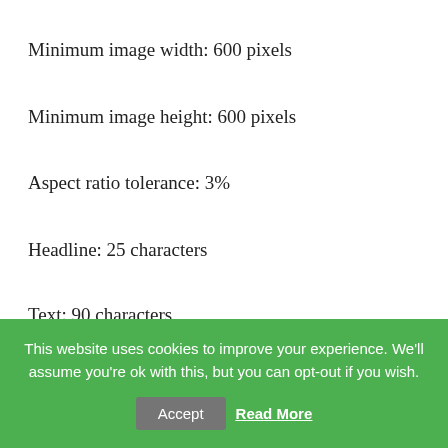Minimum image width: 600 pixels
Minimum image height: 600 pixels
Aspect ratio tolerance: 3%
Headline: 25 characters
Text: 90 characters
Carousel
This website uses cookies to improve your experience. We'll assume you're ok with this, but you can opt-out if you wish.
Accept
Read More